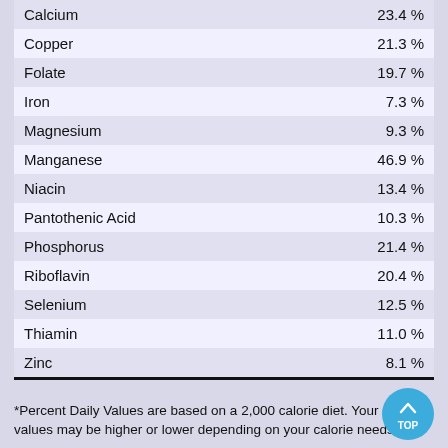| Nutrient | Daily Value % |
| --- | --- |
| Calcium | 23.4 % |
| Copper | 21.3 % |
| Folate | 19.7 % |
| Iron | 7.3 % |
| Magnesium | 9.3 % |
| Manganese | 46.9 % |
| Niacin | 13.4 % |
| Pantothenic Acid | 10.3 % |
| Phosphorus | 21.4 % |
| Riboflavin | 20.4 % |
| Selenium | 12.5 % |
| Thiamin | 11.0 % |
| Zinc | 8.1 % |
*Percent Daily Values are based on a 2,000 calorie diet. Your daily values may be higher or lower depending on your calorie needs.